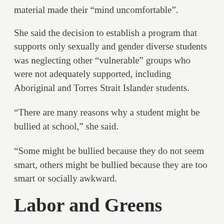material made their “mind uncomfortable”.
She said the decision to establish a program that supports only sexually and gender diverse students was neglecting other “vulnerable” groups who were not adequately supported, including Aboriginal and Torres Strait Islander students.
“There are many reasons why a student might be bullied at school,” she said.
“Some might be bullied because they do not seem smart, others might be bullied because they are too smart or socially awkward.
Labor and Greens